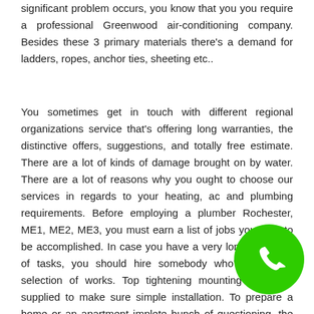significant problem occurs, you know that you you require a professional Greenwood air-conditioning company. Besides these 3 primary materials there's a demand for ladders, ropes, anchor ties, sheeting etc..
You sometimes get in touch with different regional organizations service that's offering long warranties, the distinctive offers, suggestions, and totally free estimate. There are a lot of kinds of damage brought on by water. There are a lot of reasons why you ought to choose our services in regards to your heating, ac and plumbing requirements. Before employing a plumber Rochester, ME1, ME2, ME3, you must earn a list of jobs you wish to be accomplished. In case you have a very long collection of tasks, you should hire somebody who's skilled at selection of works. Top tightening mounting bolts are supplied to make sure simple installation. To prepare a home or an apartment implies a complete bunch of questioning, the answers of which are not merely obvious.
[Figure (illustration): Green circular phone/call icon with white telephone handset symbol]